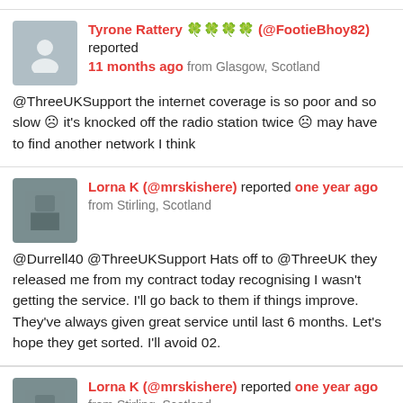Tyrone Rattery 🍀🍀🍀🍀 (@FootieBhoy82) reported 11 months ago from Glasgow, Scotland @ThreeUKSupport the internet coverage is so poor and so slow ☹ it's knocked off the radio station twice ☹ may have to find another network I think
Lorna K (@mrskishere) reported one year ago from Stirling, Scotland @Durrell40 @ThreeUKSupport Hats off to @ThreeUK they released me from my contract today recognising I wasn't getting the service. I'll go back to them if things improve. They've always given great service until last 6 months. Let's hope they get sorted. I'll avoid 02.
Lorna K (@mrskishere) reported one year ago from Stirling, Scotland